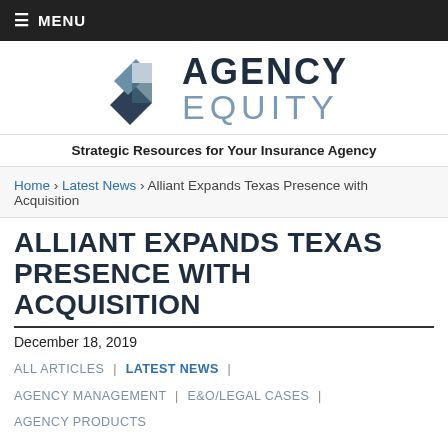≡ MENU
[Figure (logo): Agency Equity logo with geometric diamond shapes in dark blue/grey tones, text 'AGENCY EQUITY']
Strategic Resources for Your Insurance Agency
Home › Latest News › Alliant Expands Texas Presence with Acquisition
ALLIANT EXPANDS TEXAS PRESENCE WITH ACQUISITION
December 18, 2019
ALL ARTICLES | LATEST NEWS | AGENCY MANAGEMENT | E&O/LEGAL CASES | AGENCY PRODUCTS